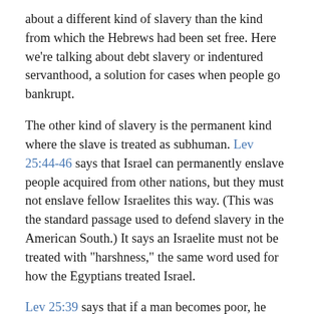about a different kind of slavery than the kind from which the Hebrews had been set free. Here we’re talking about debt slavery or indentured servanthood, a solution for cases when people go bankrupt.
The other kind of slavery is the permanent kind where the slave is treated as subhuman. Lev 25:44-46 says that Israel can permanently enslave people acquired from other nations, but they must not enslave fellow Israelites this way. (This was the standard passage used to defend slavery in the American South.) It says an Israelite must not be treated with “harshness,” the same word used for how the Egyptians treated Israel.
Lev 25:39 says that if a man becomes poor, he may sell himself to serve as a “hired servant” until the year of jubilee. A parent could also sell his/her children. One could also be sold as a slave for theft, as we see in Exodus 22. The Hebrew debt slave serves no more than 6 years, and the debt is paid in full. In Hammurabi’s